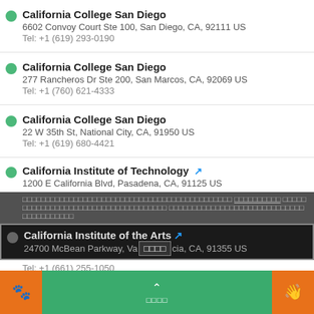California College San Diego
6602 Convoy Court Ste 100, San Diego, CA, 92111 US
Tel: +1 (619) 293-0190
California College San Diego
277 Rancheros Dr Ste 200, San Marcos, CA, 92069 US
Tel: +1 (760) 621-4333
California College San Diego
22 W 35th St, National City, CA, 91950 US
Tel: +1 (619) 680-4421
California Institute of Technology
1200 E California Blvd, Pasadena, CA, 91125 US
California Institute of the Arts
24700 McBean Parkway, Valencia, CA, 91355 US
Tel: +1 (661) 255-1050